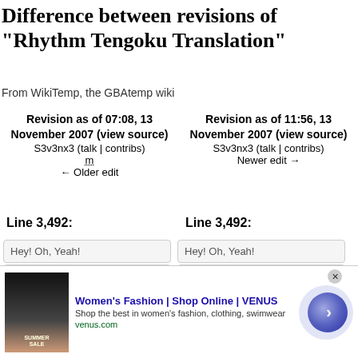Difference between revisions of "Rhythm Tengoku Translation"
From WikiTemp, the GBAtemp wiki
| Revision as of 07:08, 13 November 2007 (view source) | Revision as of 11:56, 13 November 2007 (view source) |
| --- | --- |
| S3v3nx3 (talk | contribs) | S3v3nx3 (talk | contribs) |
| m | Newer edit → |
| ← Older edit |  |
Line 3,492: Line 3,492:
Hey! Oh, Yeah! | Hey! Oh, Yeah!
</pre> | </pre>
- (empty) | + "To raise/rear/bring up"
[Figure (screenshot): Advertisement banner: Women's Fashion | Shop Online | VENUS]